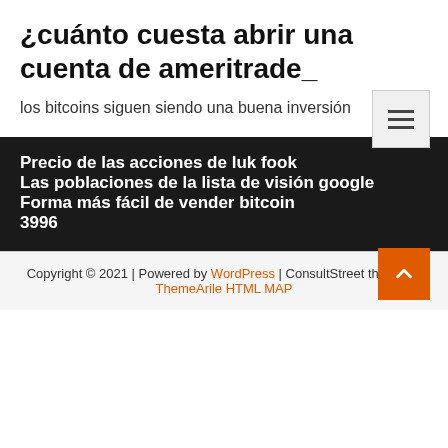¿cuánto cuesta abrir una cuenta de ameritrade_
los bitcoins siguen siendo una buena inversión
Precio de las acciones de luk fook
Las poblaciones de la lista de visión google
Forma más fácil de vender bitcoin
3996
Copyright © 2021 | Powered by WordPress | ConsultStreet theme by ThemeArile HTML MAP